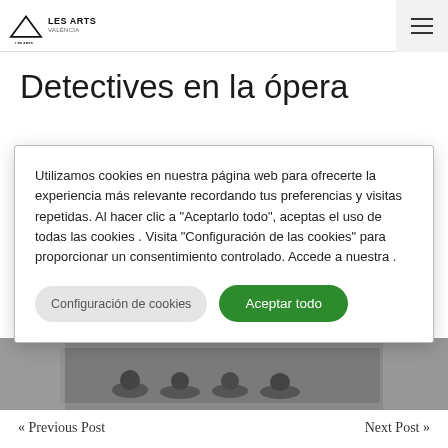Les Arts Valencia
Detectives en la ópera
Utilizamos cookies en nuestra página web para ofrecerte la experiencia más relevante recordando tus preferencias y visitas repetidas. Al hacer clic a "Aceptarlo todo", aceptas el uso de todas las cookies . Visita "Configuración de las cookies" para proporcionar un consentimiento controlado. Accede a nuestra .
[Figure (photo): People sitting on the floor in a dark room, appears to be a workshop or rehearsal scene]
« Previous Post    Next Post »